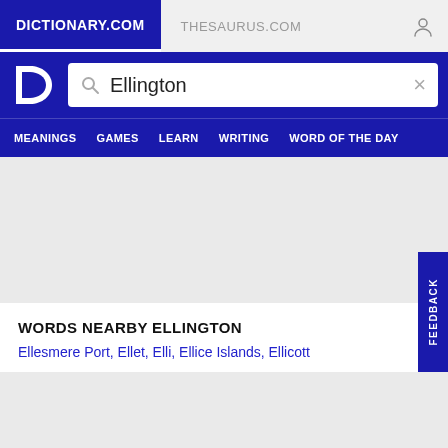DICTIONARY.COM   THESAURUS.COM
[Figure (screenshot): Dictionary.com logo - white D letter on dark blue background]
Ellington
MEANINGS   GAMES   LEARN   WRITING   WORD OF THE DAY
WORDS NEARBY ELLINGTON
Ellesmere Port, Ellet, Elli, Ellice Islands, Ellicott